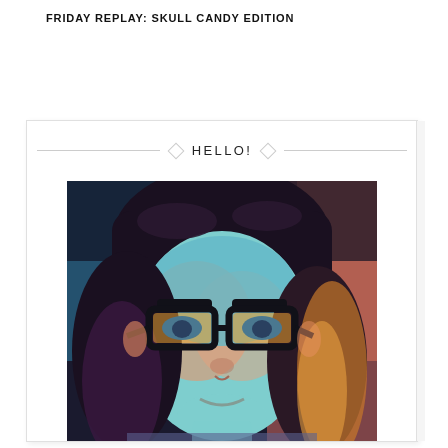FRIDAY REPLAY: SKULL CANDY EDITION
HELLO!
[Figure (illustration): Artistic/cartoon-style portrait of a young woman with dark hair, colorful artistic rendering in blues, oranges, pinks and yellows. She is wearing thick black-rimmed glasses. The image has a digital art / comic filter applied.]